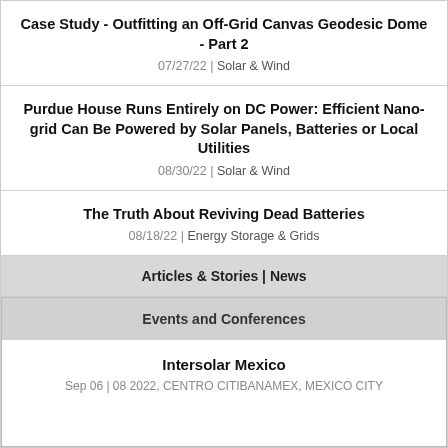Case Study - Outfitting an Off-Grid Canvas Geodesic Dome - Part 2
07/27/22 | Solar & Wind
Purdue House Runs Entirely on DC Power: Efficient Nano-grid Can Be Powered by Solar Panels, Batteries or Local Utilities
08/30/22 | Solar & Wind
The Truth About Reviving Dead Batteries
08/18/22 | Energy Storage & Grids
Articles & Stories | News
Events and Conferences
Intersolar Mexico
Sep 06 | 08 2022, CENTRO CITIBANAMEX, MEXICO CITY